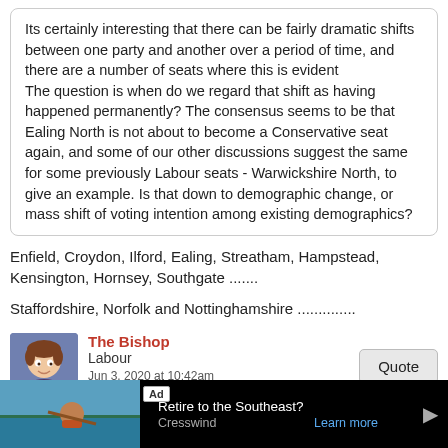Its certainly interesting that there can be fairly dramatic shifts between one party and another over a period of time, and there are a number of seats where this is evident
The question is when do we regard that shift as having happened permanently? The consensus seems to be that Ealing North is not about to become a Conservative seat again, and some of our other discussions suggest the same for some previously Labour seats - Warwickshire North, to give an example. Is that down to demographic change, or mass shift of voting intention among existing demographics?
Enfield, Croydon, Ilford, Ealing, Streatham, Hampstead, Kensington, Hornsey, Southgate .......
Staffordshire, Norfolk and Nottinghamshire ..............
The Bishop
Labour
Jun 3, 2020 at 10:42am
@barnabymarder said:
That's true, but his result was markedly better than the Tory result in the other 2 seats in the borough. Or indeed anywhere else in the
[Figure (infographic): Advertisement banner: 'Ad' label, photo of man kayaking, text 'Retire to the Southeast? Cresswind Learn more' with play icon]